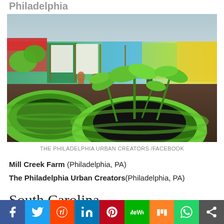Philadelphia
[Figure (photo): Urban community garden with green-painted tire planters containing young plants in the foreground, and a colorful mural wall, display boards, and people in the background.]
THE PHILADELPHIA URBAN CREATORS /FACEBOOK
Mill Creek Farm (Philadelphia, PA)
The Philadelphia Urban Creators (Philadelphia, PA)
South Carolina
[Figure (infographic): Social media sharing bar with icons for Facebook, Twitter, Reddit, LinkedIn, Pinterest, MeWe, Mix, WhatsApp, and Share.]